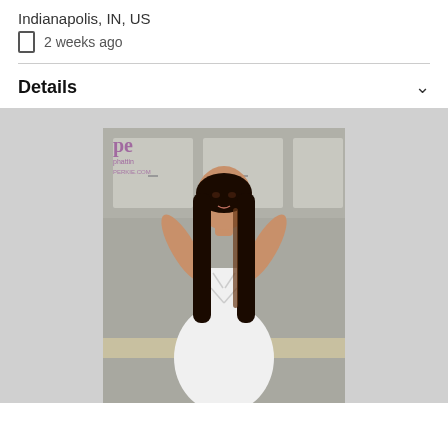Indianapolis, IN, US
📱 2 weeks ago
Details
[Figure (photo): A woman with long dark hair wearing a white lace-up outfit, posed in a kitchen setting. A watermark 'pe' logo is visible in the upper-left corner of the photo.]